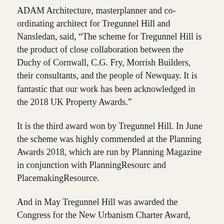ADAM Architecture, masterplanner and co-ordinating architect for Tregunnel Hill and Nansledan, said, “The scheme for Tregunnel Hill is the product of close collaboration between the Duchy of Cornwall, C.G. Fry, Morrish Builders, their consultants, and the people of Newquay. It is fantastic that our work has been acknowledged in the 2018 UK Property Awards.”
It is the third award won by Tregunnel Hill. In June the scheme was highly commended at the Planning Awards 2018, which are run by Planning Magazine in conjunction with PlanningResourc and PlacemakingResource.
And in May Tregunnel Hill was awarded the Congress for the New Urbanism Charter Award, regarded as the pre-eminent awards for excellence in urban design around the world.